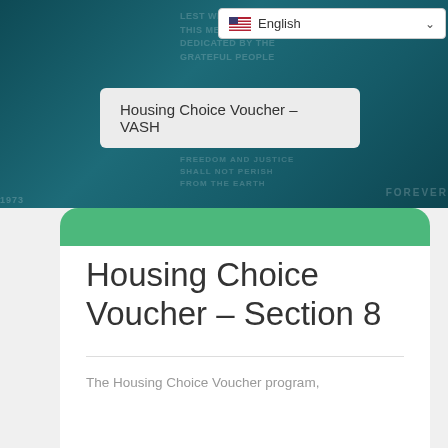[Figure (photo): Dark teal background with memorial/monument imagery and faint inscribed text reading 'LEST WE FORGET', 'THIS MEMORIAL IS DEDICATED BY THE GRATEFUL PEOPLE', 'FREEDOM AND JUSTICE SHALL NOT PERISH FROM THE EARTH', 'FOREVER']
English (language selector dropdown with US flag and chevron)
Housing Choice Voucher – VASH
Housing Choice Voucher – Section 8
The Housing Choice Voucher program,